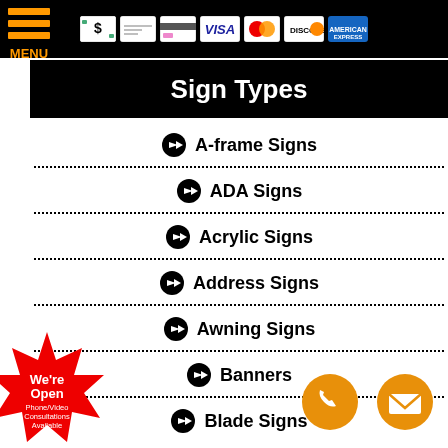Payment icons and menu
Sign Types
A-frame Signs
ADA Signs
Acrylic Signs
Address Signs
Awning Signs
Banners
Blade Signs
[Figure (illustration): Red starburst badge with text: We're Open Phone/Video Consultations Available]
[Figure (illustration): Orange circle phone icon and orange circle email/envelope icon]